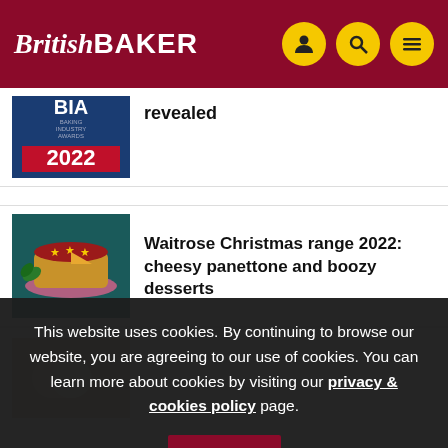British BAKER
[Figure (logo): BIA Baking Industry Awards 2022 logo on dark blue background]
revealed
[Figure (photo): Waitrose Christmas cake with stars decoration on pink plate]
Waitrose Christmas range 2022: cheesy panettone and boozy desserts
This website uses cookies. By continuing to browse our website, you are agreeing to our use of cookies. You can learn more about cookies by visiting our privacy & cookies policy page.
OK